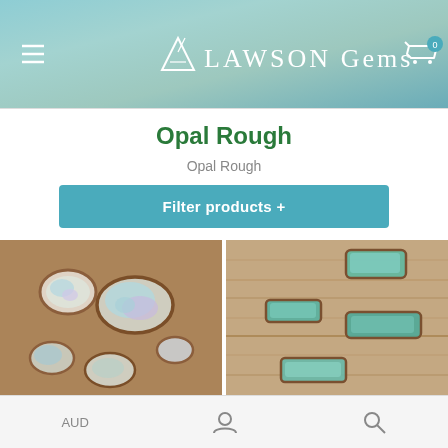[Figure (screenshot): Lawson Gems website header with teal/blue-green gradient background, hamburger menu icon on left, Lawson Gems logo with triangle gem icon in center, shopping cart icon with badge '0' on right]
Opal Rough
Opal Rough
Filter products +
[Figure (photo): Close-up photo of multiple small rough opal pieces with iridescent blue/purple/teal colors on a brown sandy surface]
[Figure (photo): Close-up photo of rough opal pieces with turquoise/teal colors arranged on wooden surface]
AUD  [user icon]  [search icon]